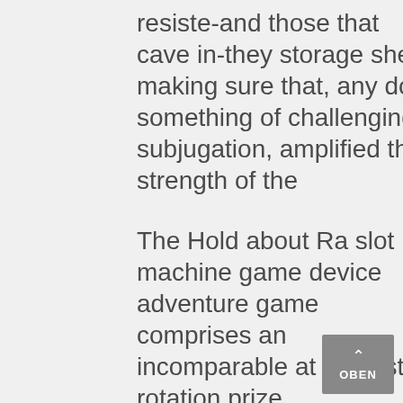resiste-and those that cave in-they storage shed; making sure that, any do something of challenging subjugation, amplified the strength of the
The Hold about Ra slot machine game device adventure game comprises an incomparable at no cost rotation prize